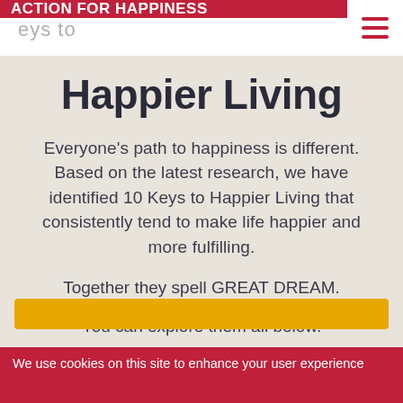ACTION FOR HAPPINESS — Keys to
Happier Living
Everyone's path to happiness is different. Based on the latest research, we have identified 10 Keys to Happier Living that consistently tend to make life happier and more fulfilling.
Together they spell GREAT DREAM.
You can explore them all below.
We use cookies on this site to enhance your user experience